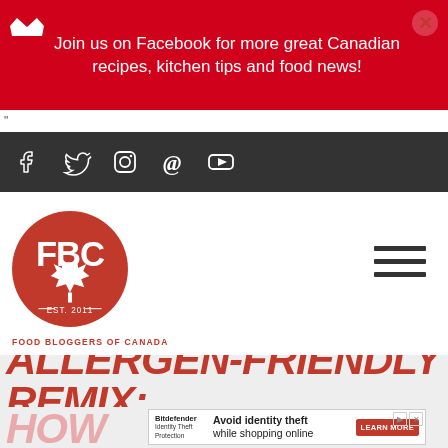Join us on Facebook for more great Canadian recipes, kitchen tips and food news!
[Figure (logo): Social media icons bar: Facebook, Twitter, Instagram, Pinterest, YouTube on dark background]
[Figure (logo): FBC Food Bloggers of Canada circular red logo with maple leaf, Est. 2011]
ALLERGEN-FRIENDLY REMIX:
HOW
[Figure (infographic): Advertisement: Bitdefender Identity Theft Protection - Avoid identity theft while shopping online - LEARN MORE button]